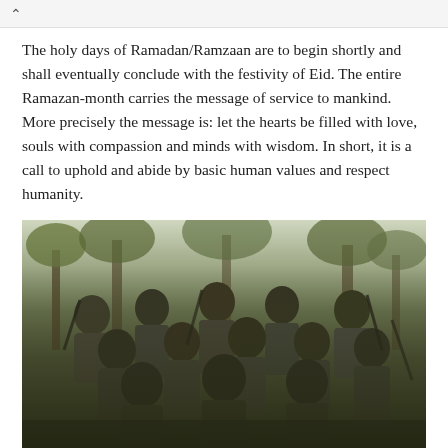The holy days of Ramadan/Ramzaan are to begin shortly and shall eventually conclude with the festivity of Eid. The entire Ramazan-month carries the message of service to mankind. More precisely the message is: let the hearts be filled with love, souls with compassion and minds with wisdom. In short, it is a call to uphold and abide by basic human values and respect humanity.
[Figure (photo): Group photo of armed men in camouflage clothing, posing outdoors in a wooded/orchard setting, some holding rifles.]